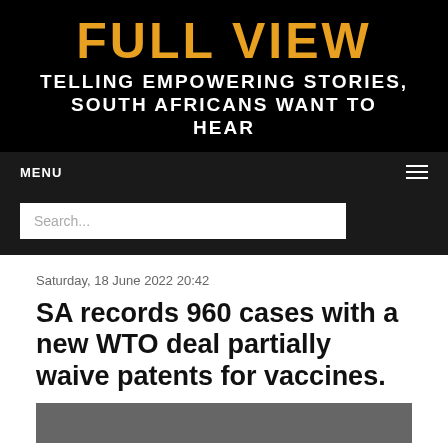Full View
Telling Empowering Stories, South Africans Want to Hear
MENU
Search...
Saturday, 18 June 2022 20:42
SA records 960 cases with a new WTO deal partially waive patents for vaccines.
[Figure (photo): Partial view of an article image at the bottom of the page]